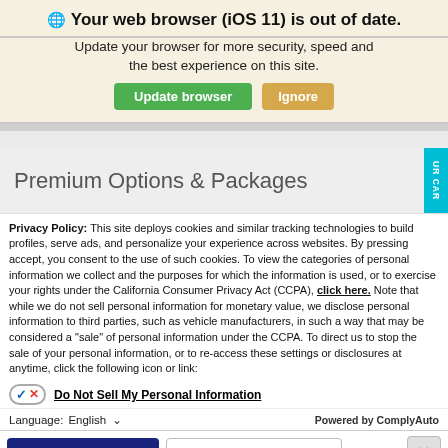Your web browser (iOS 11) is out of date.
Update your browser for more security, speed and the best experience on this site.
Update browser | Ignore
Premium Options & Packages
Privacy Policy: This site deploys cookies and similar tracking technologies to build profiles, serve ads, and personalize your experience across websites. By pressing accept, you consent to the use of such cookies. To view the categories of personal information we collect and the purposes for which the information is used, or to exercise your rights under the California Consumer Privacy Act (CCPA), click here. Note that while we do not sell personal information for monetary value, we disclose personal information to third parties, such as vehicle manufacturers, in such a way that may be considered a "sale" of personal information under the CCPA. To direct us to stop the sale of your personal information, or to re-access these settings or disclosures at anytime, click the following icon or link:
Do Not Sell My Personal Information
Language: English  Powered by ComplyAuto
Accept and Continue → | California Privacy Disclosures | ×